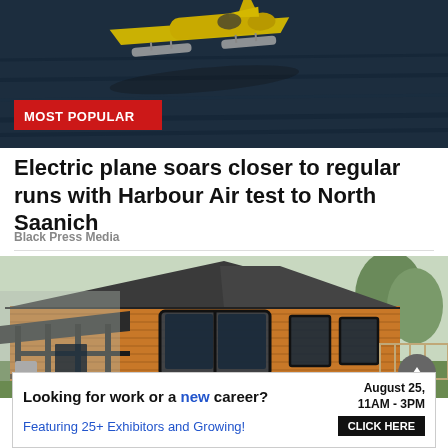[Figure (photo): Aerial view of a yellow seaplane/floatplane on dark water, with 'MOST POPULAR' red badge overlay]
Electric plane soars closer to regular runs with Harbour Air test to North Saanich
Black Press Media
[Figure (photo): A wooden cabin-style house with dark roof and large windows, surrounded by trees and green lawn]
Looking for work or a new career? August 25, 11AM - 3PM Featuring 25+ Exhibitors and Growing! CLICK HERE